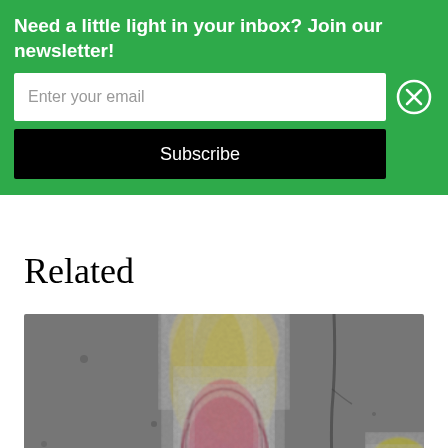Need a little light in your inbox? Join our newsletter!
Enter your email
Subscribe
Related
[Figure (photo): Chalk drawing on pavement of a girl with long yellow hair wearing a pink dress, with a yellow leaf visible in the bottom right corner]